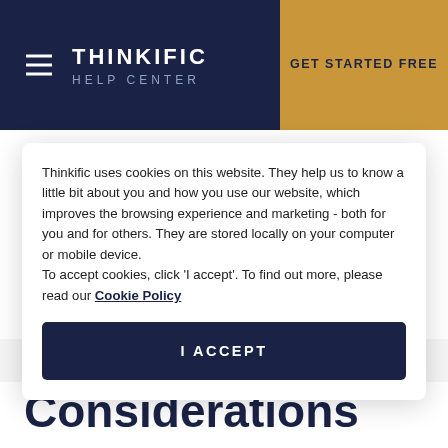THINKIFIC HELP CENTER | GET STARTED FREE
those on the original V9 interface have not all been switched over to their updated look. If your Brillium screens look different than the
Thinkific uses cookies on this website. They help us to know a little bit about you and how you use our website, which improves the browsing experience and marketing - both for you and for others. They are stored locally on your computer or mobile device.
To accept cookies, click 'I accept'. To find out more, please read our Cookie Policy
I ACCEPT
Considerations